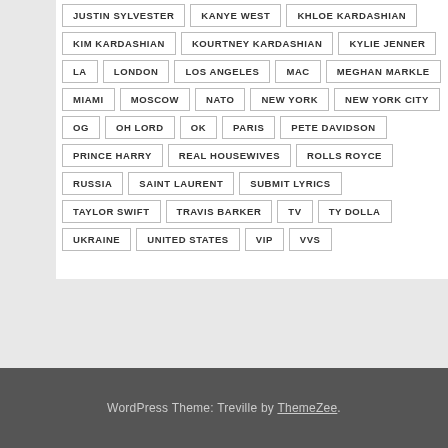JUSTIN SYLVESTER
KANYE WEST
KHLOE KARDASHIAN
KIM KARDASHIAN
KOURTNEY KARDASHIAN
KYLIE JENNER
LA
LONDON
LOS ANGELES
MAC
MEGHAN MARKLE
MIAMI
MOSCOW
NATO
NEW YORK
NEW YORK CITY
OG
OH LORD
OK
PARIS
PETE DAVIDSON
PRINCE HARRY
REAL HOUSEWIVES
ROLLS ROYCE
RUSSIA
SAINT LAURENT
SUBMIT LYRICS
TAYLOR SWIFT
TRAVIS BARKER
TV
TY DOLLA
UKRAINE
UNITED STATES
VIP
VVS
WordPress Theme: Treville by ThemeZee.